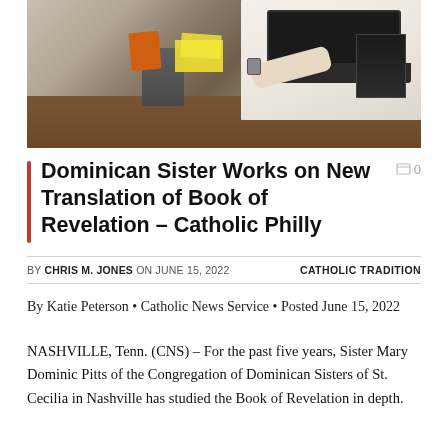[Figure (photo): A person in a white garment working at a desk with a laptop, pencil cup, sticky notes, and books in an office setting.]
Dominican Sister Works on New Translation of Book of Revelation – Catholic Philly
BY CHRIS M. JONES ON JUNE 15, 2022    CATHOLIC TRADITION
By Katie Peterson • Catholic News Service • Posted June 15, 2022
NASHVILLE, Tenn. (CNS) – For the past five years, Sister Mary Dominic Pitts of the Congregation of Dominican Sisters of St. Cecilia in Nashville has studied the Book of Revelation in depth.